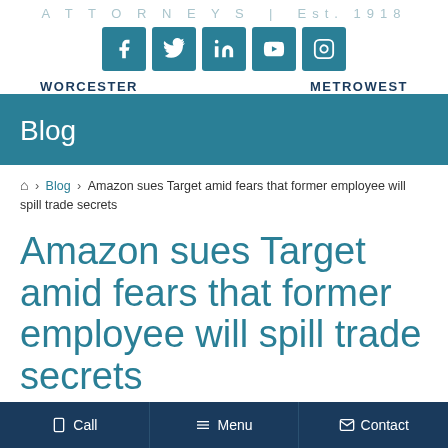ATTORNEYS | Est. 1918
[Figure (other): Social media icon buttons: Facebook, Twitter, LinkedIn, YouTube, Instagram]
WORCESTER   METROWEST
Blog
🏠 > Blog > Amazon sues Target amid fears that former employee will spill trade secrets
Amazon sues Target amid fears that former employee will spill trade secrets